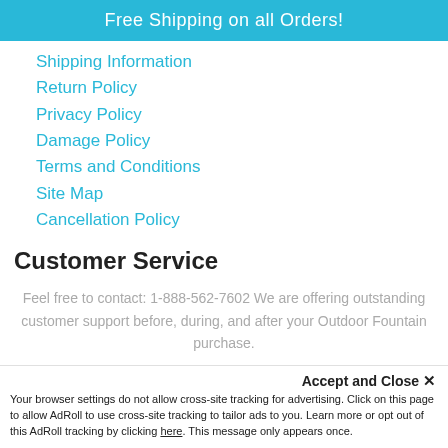Free Shipping on all Orders!
Shipping Information
Return Policy
Privacy Policy
Damage Policy
Terms and Conditions
Site Map
Cancellation Policy
Customer Service
Feel free to contact: 1-888-562-7602 We are offering outstanding customer support before, during, and after your Outdoor Fountain purchase.
We Accept
Accept and Close ✕
Your browser settings do not allow cross-site tracking for advertising. Click on this page to allow AdRoll to use cross-site tracking to tailor ads to you. Learn more or opt out of this AdRoll tracking by clicking here. This message only appears once.